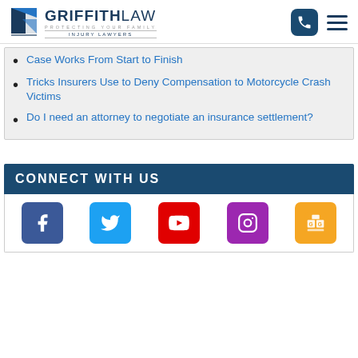Griffith Law — Protecting Your Family Injury Lawyers
Case Works From Start to Finish
Tricks Insurers Use to Deny Compensation to Motorcycle Crash Victims
Do I need an attorney to negotiate an insurance settlement?
CONNECT WITH US
[Figure (other): Social media icons: Facebook, Twitter, YouTube, Instagram, Google My Business]